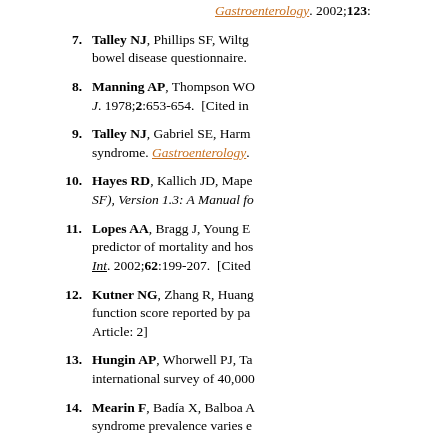Gastroenterology. 2002;123:
7. Talley NJ, Phillips SF, Wiltg... bowel disease questionnaire.
8. Manning AP, Thompson WO... J. 1978;2:653-654. [Cited in
9. Talley NJ, Gabriel SE, Harm... syndrome. Gastroenterology.
10. Hayes RD, Kallich JD, Mape... SF), Version 1.3: A Manual fo
11. Lopes AA, Bragg J, Young E... predictor of mortality and hos... Int. 2002;62:199-207. [Cited
12. Kutner NG, Zhang R, Huang... function score reported by pa... Article: 2]
13. Hungin AP, Whorwell PJ, Ta... international survey of 40,000
14. Mearin F, Badía X, Balboa A... syndrome prevalence varies e